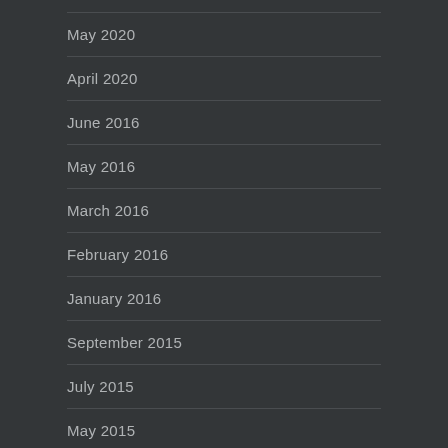May 2020
April 2020
June 2016
May 2016
March 2016
February 2016
January 2016
September 2015
July 2015
May 2015
April 2015